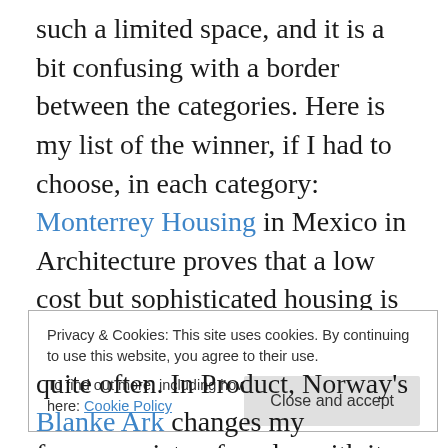such a limited space, and it is a bit confusing with a border between the categories. Here is my list of the winner, if I had to choose, in each category: Monterrey Housing in Mexico in Architecture proves that a low cost but sophisticated housing is possible. In Fashion, Boudicca's Real Girl digital lookbook is quite clever to show the clothes from a variety of angles with its innovative web technology. PARCS in Furniture is quite fun but also functional that the parts can be combined to fit for a need and a space. In Graphics, I am torn apart between UK's War Memorial with its state-of-the-art
Privacy & Cookies: This site uses cookies. By continuing to use this website, you agree to their use.
To find out more, including how to control cookies, see here: Cookie Policy
quite often. In Product, Norway's Blanke Ark changes my